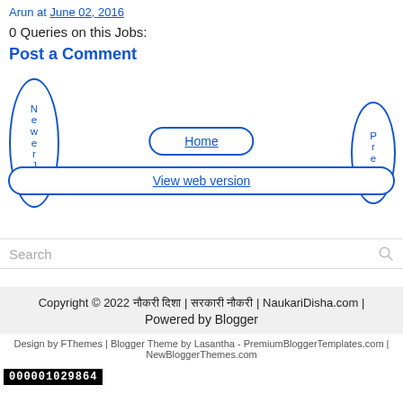Arun at June 02, 2016
0 Queries on this Jobs:
Post a Comment
[Figure (screenshot): Navigation area with Newer Post circle button on left, Home oval button in center, View web version oval button below Home, and Older Post circle button on right. All elements are blue on white background.]
Search
Copyright © 2022 नौकरी दिशा | सरकारी नौकरी | NaukariDisha.com | Powered by Blogger
Design by FThemes | Blogger Theme by Lasantha - PremiumBloggerTemplates.com | NewBloggerThemes.com
000001029864